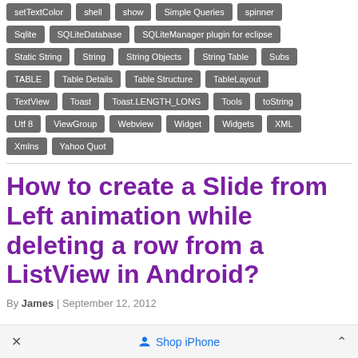setTextColor
shell
show
Simple Queries
spinner
Sqlite
SQLiteDatabase
SQLiteManager plugin for eclipse
Static String
String
String Objects
String Table
Subs
TABLE
Table Details
Table Structure
TableLayout
TextView
Toast
Toast.LENGTH_LONG
Tools
toString
Utf 8
ViewGroup
Webview
Widget
Widgets
XML
Xmlns
Yahoo Quot
How to create a Slide from Left animation while deleting a row from a ListView in Android?
By James | September 12, 2012
Shop iPhone